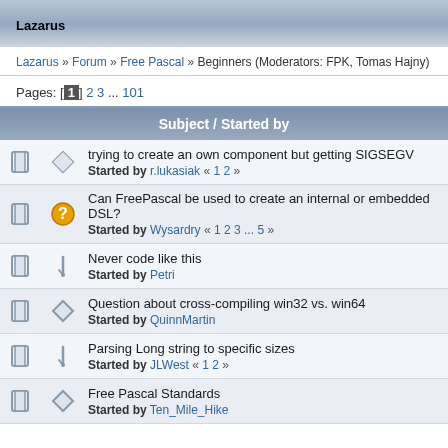Lazarus
Lazarus » Forum » Free Pascal » Beginners (Moderators: FPK, Tomas Hajny)
Pages: [1] 2 3 ... 101
| Subject / Started by |
| --- |
| trying to create an own component but getting SIGSEGV
Started by r.lukasiak « 1 2 » |
| Can FreePascal be used to create an internal or embedded DSL?
Started by Wysardry « 1 2 3 ... 5 » |
| Never code like this
Started by Petri |
| Question about cross-compiling win32 vs. win64
Started by QuinnMartin |
| Parsing Long string to specific sizes
Started by JLWest « 1 2 » |
| Free Pascal Standards
Started by Ten_Mile_Hike |